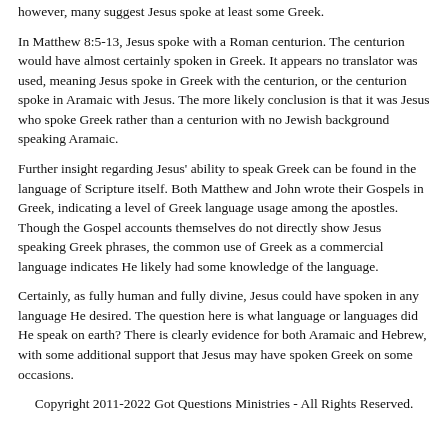however, many suggest Jesus spoke at least some Greek.
In Matthew 8:5-13, Jesus spoke with a Roman centurion. The centurion would have almost certainly spoken in Greek. It appears no translator was used, meaning Jesus spoke in Greek with the centurion, or the centurion spoke in Aramaic with Jesus. The more likely conclusion is that it was Jesus who spoke Greek rather than a centurion with no Jewish background speaking Aramaic.
Further insight regarding Jesus' ability to speak Greek can be found in the language of Scripture itself. Both Matthew and John wrote their Gospels in Greek, indicating a level of Greek language usage among the apostles. Though the Gospel accounts themselves do not directly show Jesus speaking Greek phrases, the common use of Greek as a commercial language indicates He likely had some knowledge of the language.
Certainly, as fully human and fully divine, Jesus could have spoken in any language He desired. The question here is what language or languages did He speak on earth? There is clearly evidence for both Aramaic and Hebrew, with some additional support that Jesus may have spoken Greek on some occasions.
Copyright 2011-2022 Got Questions Ministries - All Rights Reserved.